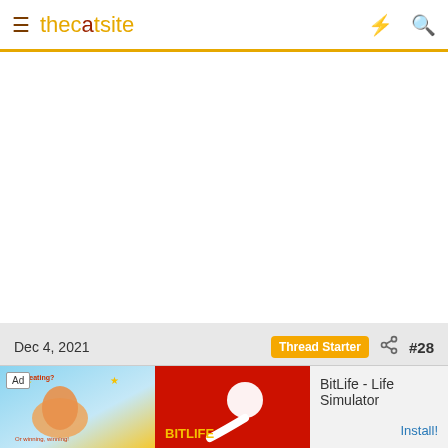thecatsite
Dec 4, 2021  Thread Starter  #28
Winchester
In the kitchen with my cookies
Thread starter
[Figure (other): Bottom ad banner for BitLife - Life Simulator with Ad label, illustrated left panel and red right panel]
BitLife - Life Simulator
Install!